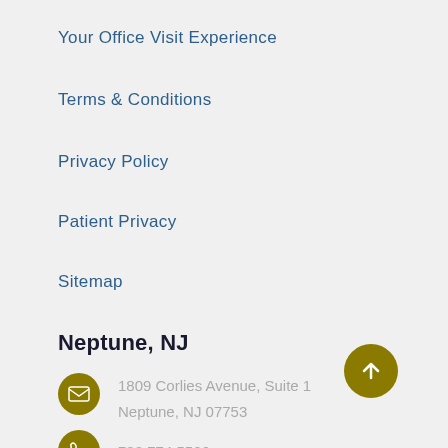Your Office Visit Experience
Terms & Conditions
Privacy Policy
Patient Privacy
Sitemap
Neptune, NJ
1809 Corlies Avenue, Suite 1
Neptune, NJ 07753
732.774.5566